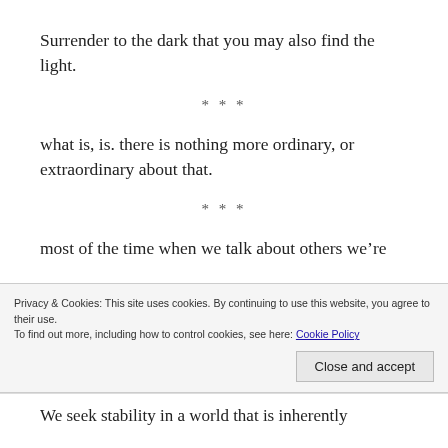Surrender to the dark that you may also find the light.
* * *
what is, is. there is nothing more ordinary, or extraordinary about that.
* * *
most of the time when we talk about others we’re projecting…it’s pretty amusing really when we start listening to both ourselves and others in that
Privacy & Cookies: This site uses cookies. By continuing to use this website, you agree to their use.
To find out more, including how to control cookies, see here: Cookie Policy
Close and accept
We seek stability in a world that is inherently